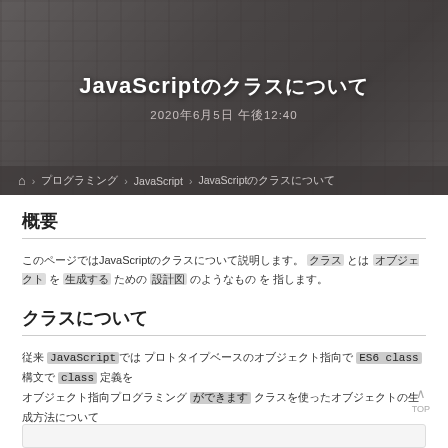[Figure (photo): Hero image showing hands typing on a keyboard, with dark overlay. Title and date overlaid on image.]
JavaScriptのクラスについて
2020年6月5日 午後12:40
ホーム > プログラミング > JavaScript > JavaScriptのクラスについて
概要
このページではJavaScriptのクラスについて説明します。 クラス とは オブジェクト を 生成する ための 設計図 のようなもの を 指します。
クラスについて
従来 JavaScript では プロトタイプベースのオブジェクト指向で ES6 class 構文で class 定義を オブジェクト指向プログラミング ができます クラスを使ったオブジェクトの生成方法について